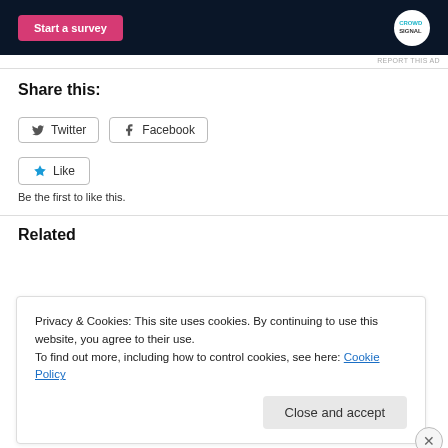[Figure (screenshot): Ad banner with dark navy background showing 'Start a survey' pink button and Crowdsignal logo (white circle)]
REPORT THIS AD
Share this:
Twitter  Facebook
Like
Be the first to like this.
Related
Privacy & Cookies: This site uses cookies. By continuing to use this website, you agree to their use.
To find out more, including how to control cookies, see here: Cookie Policy
Close and accept